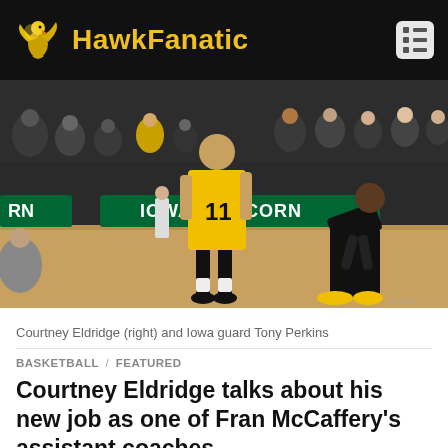HawkFanatic
[Figure (photo): Basketball court photo showing Courtney Eldridge (right, wearing black outfit and yellow shoes) bending down to talk to Iowa guard Tony Perkins (wearing yellow #11 jersey), with Iowa Corn signage visible on the sideline and a crowd in the background.]
Courtney Eldridge (right) and Iowa guard Tony Perkins
BASKETBALL / FEATURED
Courtney Eldridge talks about his new job as one of Fran McCaffery's assistant coaches